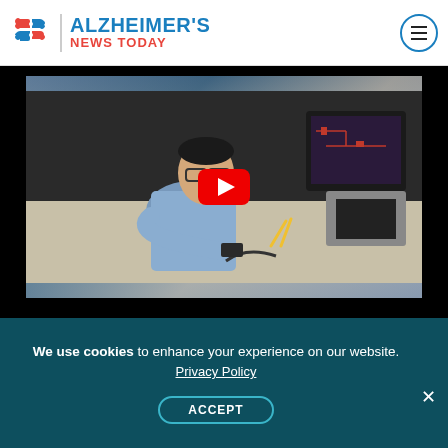[Figure (logo): Alzheimer's News Today logo with puzzle-piece brain icon in red and blue, vertical divider, and site name text]
[Figure (screenshot): YouTube-style video thumbnail showing a young man in glasses working at a lab bench with electronics equipment, computers in background. Red YouTube play button overlaid in center. Black letterbox bars top and bottom.]
“One night I was looking after my grandfather and
We use cookies to enhance your experience on our website. Privacy Policy ACCEPT